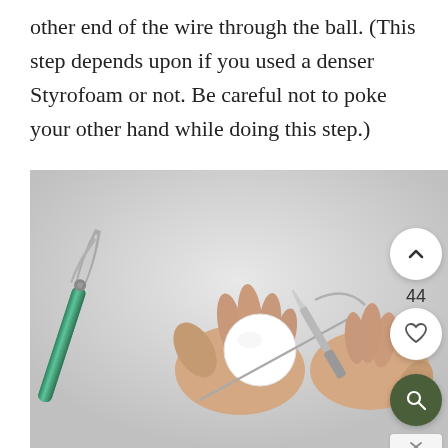other end of the wire through the ball. (This step depends upon if you used a denser Styrofoam or not. Be careful not to poke your other hand while doing this step.)
[Figure (photo): Hands holding a small white Styrofoam ball, using needle-nose pliers to push a wire through it. Green-handled pliers visible on the left side of the image against a light gray background.]